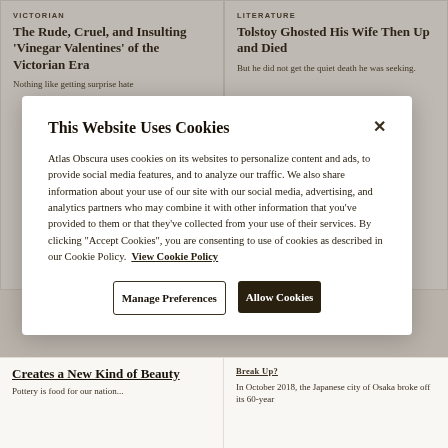VICTORIAN
The Rude, Cruel, and Insulting 'Vinegar Valentines' of the Victorian Era
Nothing like getting surprise hate
LITERATURE
Tolstoy Ghosted His Wife Then Up and Died
But he did not get the quiet death he was seeking.
This Website Uses Cookies
Atlas Obscura uses cookies on its websites to personalize content and ads, to provide social media features, and to analyze our traffic. We also share information about your use of our site with our social media, advertising, and analytics partners who may combine it with other information that you've provided to them or that they've collected from your use of their services. By clicking "Accept Cookies", you are consenting to use of cookies as described in our Cookie Policy.  View Cookie Policy
Manage Preferences
Allow Cookies
Creates a New Kind of Beauty
Pottery is food for our nation...
In October 2018, the Japanese city of Osaka broke off its 60-year